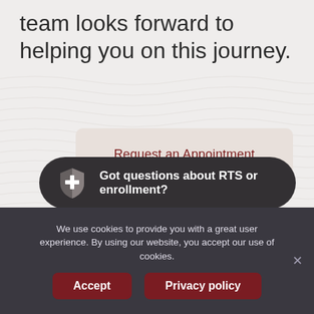team looks forward to helping you on this journey.
[Figure (screenshot): Request an Appointment button card with dark red text on a light beige rounded rectangle background]
[Figure (infographic): Dark rounded button with RTS shield logo icon and white bold text: Got questions about RTS or enrollment?]
[Figure (infographic): Dark circular chat bubble icon button in lower right]
We use cookies to provide you with a great user experience. By using our website, you accept our use of cookies.
Accept
Privacy policy